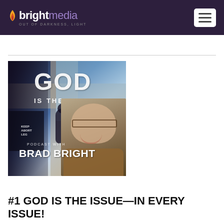bright media — OUT OF DARKNESS, LIGHT
[Figure (photo): Podcast cover art for 'God Is The Issue' podcast with Brad Bright. Shows a cross shape with large text 'GOD IS THE ISSUE', a silhouette figure, protest signs, and a smiling man with glasses wearing a brown jacket. Text reads 'PODCAST WITH BRAD BRIGHT'.]
#1 GOD IS THE ISSUE—IN EVERY ISSUE!